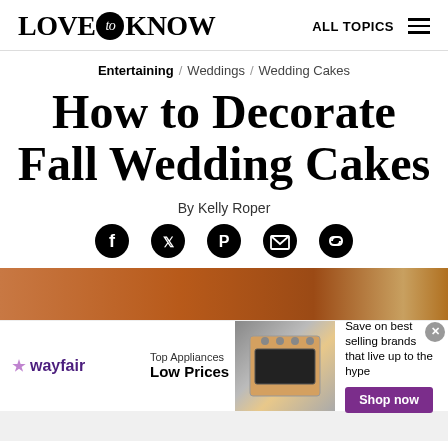LOVE to KNOW   ALL TOPICS
Entertaining / Weddings / Wedding Cakes
How to Decorate Fall Wedding Cakes
By Kelly Roper
[Figure (infographic): Social share icons: Facebook, Twitter, Pinterest, Email, Link]
[Figure (photo): Top portion of a wedding cake image, partially visible]
[Figure (infographic): Wayfair advertisement banner: Top Appliances Low Prices, Shop now button, appliance image]